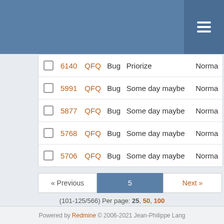|  | # | Project | Tracker | Target version | Priority |
| --- | --- | --- | --- | --- | --- |
| ☐ | 6140 | QFQ | Bug | Priorize | Norma… |
| ☐ | 5991 | QFQ | Bug | Some day maybe | Norma… |
| ☐ | 5877 | QFQ | Bug | Some day maybe | Norma… |
| ☐ | 5768 | QFQ | Bug | Some day maybe | Norma… |
| ☐ | 5706 | QFQ | Bug | Some day maybe | Norma… |
« Previous  5  Next »
(101-125/566) Per page: 25, 50, 100
Also available in: Atom | CSV | PDF
Powered by Redmine © 2006-2021 Jean-Philippe Lang